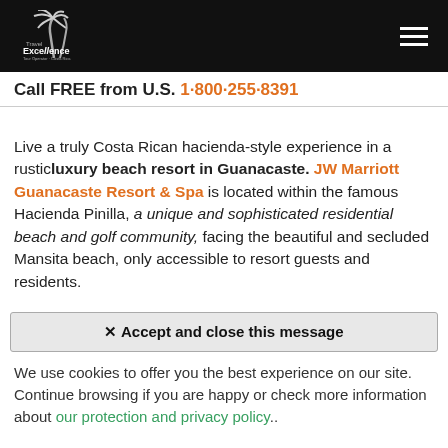Travel Excellence Tour Operator · Costa Rica
Call FREE from U.S. 1·800·255·8391
Live a truly Costa Rican hacienda-style experience in a rustic luxury beach resort in Guanacaste. JW Marriott Guanacaste Resort & Spa is located within the famous Hacienda Pinilla, a unique and sophisticated residential beach and golf community, facing the beautiful and secluded Mansita beach, only accessible to resort guests and residents.
✕ Accept and close this message
We use cookies to offer you the best experience on our site. Continue browsing if you are happy or check more information about our protection and privacy policy..